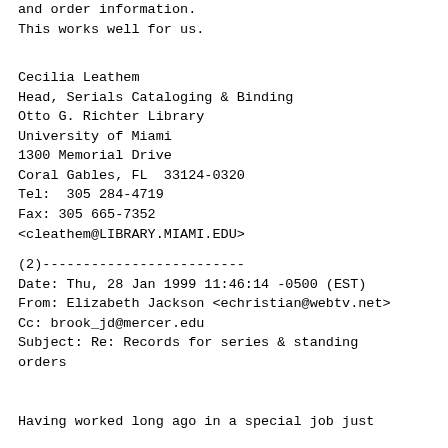and order information.
This works well for us.
Cecilia Leathem
Head, Serials Cataloging & Binding
Otto G. Richter Library
University of Miami
1300 Memorial Drive
Coral Gables, FL  33124-0320
Tel:  305 284-4719
Fax: 305 665-7352
<cleathem@LIBRARY.MIAMI.EDU>
(2)-------------------------
Date: Thu, 28 Jan 1999 11:46:14 -0500 (EST)
From: Elizabeth Jackson <echristian@webtv.net>
Cc: brook_jd@mercer.edu
Subject: Re: Records for series & standing orders
Having worked long ago in a special job just